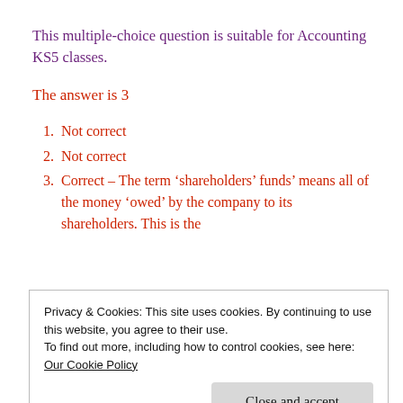This multiple-choice question is suitable for Accounting KS5 classes.
The answer is 3
Not correct
Not correct
Correct – The term ‘shareholders’ funds’ means all of the money ‘owed’ by the company to its shareholders. This is the
Privacy & Cookies: This site uses cookies. By continuing to use this website, you agree to their use.
To find out more, including how to control cookies, see here: Our Cookie Policy
is the total of the balance on the profit and